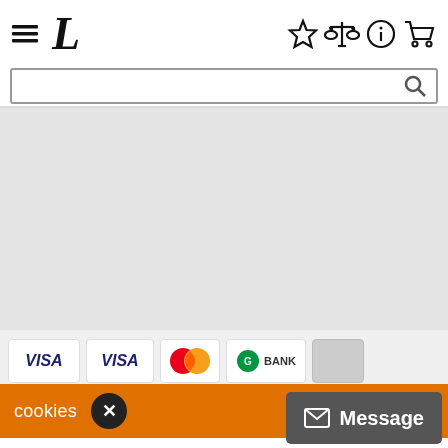Navigation bar with hamburger menu, L logo, star/compare/info/cart icons, and search box
[Figure (screenshot): Large grey empty content area below the navigation header]
[Figure (screenshot): Payment methods strip showing VISA, VISA, Mastercard, and BANK logos]
cookies
[Figure (illustration): Message button with envelope icon and label 'Message']